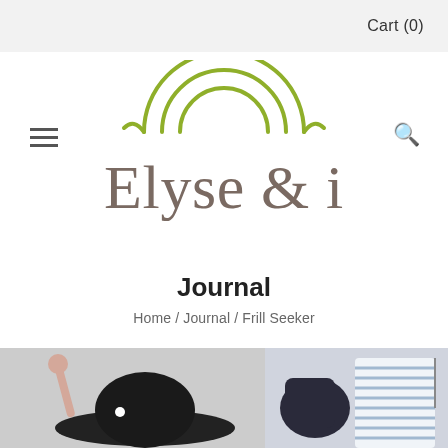Cart (0)
[Figure (logo): Elyse & i brand logo with a green rainbow arc above the stylized serif text 'Elyse & i']
Journal
Home / Journal / Frill Seeker
[Figure (photo): Bottom left photo showing a person holding something with a dark wide-brim hat, light background]
[Figure (photo): Bottom right photo showing fashion clothing items including a striped garment on a white background]